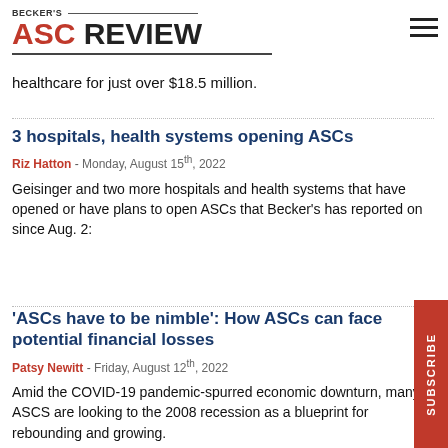BECKER'S ASC REVIEW
healthcare for just over $18.5 million.
3 hospitals, health systems opening ASCs
Riz Hatton - Monday, August 15th, 2022
Geisinger and two more hospitals and health systems that have opened or have plans to open ASCs that Becker's has reported on since Aug. 2:
'ASCs have to be nimble': How ASCs can face potential financial losses
Patsy Newitt - Friday, August 12th, 2022
Amid the COVID-19 pandemic-spurred economic downturn, many ASCS are looking to the 2008 recession as a blueprint for rebounding and growing.